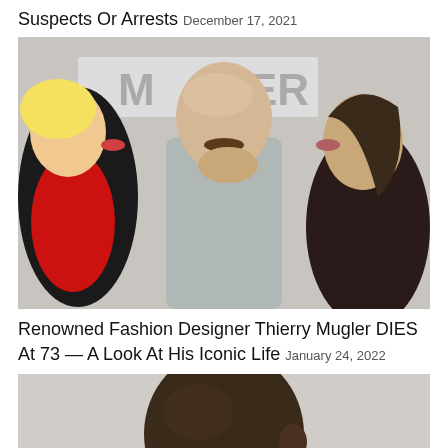Suspects Or Arrests December 17, 2021
[Figure (photo): Three people posing: a woman in red gloves on the left kissing a bald man with a mustache in the center, and a woman on the right also leaning toward him. Background shows letters M...ER.]
Renowned Fashion Designer Thierry Mugler DIES At 73 — A Look At His Iconic Life January 24, 2022
[Figure (photo): Close-up side/back profile of a Black man's head against a light background.]